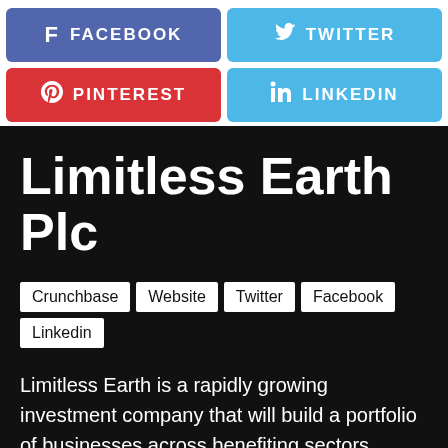[Figure (infographic): Social media share buttons: Facebook (purple-blue), Twitter (light blue), Pinterest (red), LinkedIn (light blue)]
Limitless Earth Plc
Crunchbase
Website
Twitter
Facebook
Linkedin
Limitless Earth is a rapidly growing investment company that will build a portfolio of businesses across benefiting sectors.